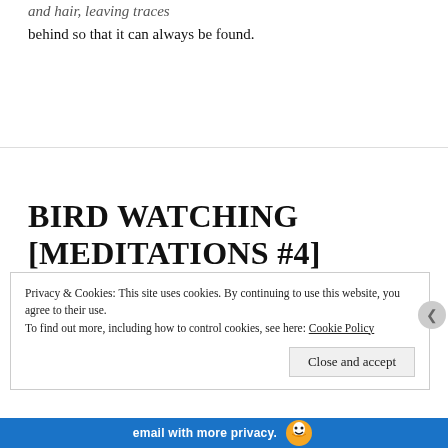and hair, leaving traces
behind so that it can always be found.
BIRD WATCHING [MEDITATIONS #4]
June 12, 2020   Leave a comment
I am watching the birds from my bedroom window,
Privacy & Cookies: This site uses cookies. By continuing to use this website, you agree to their use.
To find out more, including how to control cookies, see here: Cookie Policy
Close and accept
[Figure (other): Bottom advertisement bar with blue background and white text reading 'email with more privacy.' with a duck/bird logo icon]